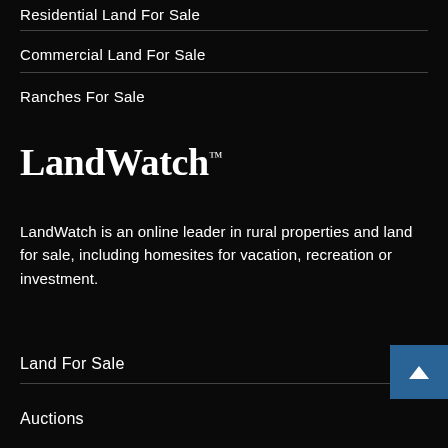Residential Land For Sale
Commercial Land For Sale
Ranches For Sale
[Figure (logo): LandWatch logo in white serif font on black background]
LandWatch is an online leader in rural properties and land for sale, including homesites for vacation, recreation or investment.
Land For Sale
Auctions